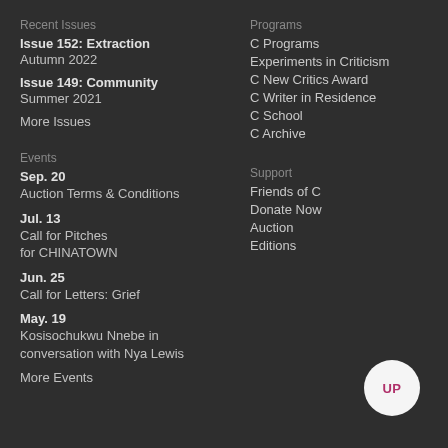Recent Issues
Issue 152: Extraction
Autumn 2022
Issue 149: Community
Summer 2021
More Issues
Programs
C Programs
Experiments in Criticism
C New Critics Award
C Writer in Residence
C School
C Archive
Events
Sep. 20
Auction Terms & Conditions
Jul. 13
Call for Pitches for CHINATOWN
Jun. 25
Call for Letters: Grief
May. 19
Kosisochukwu Nnebe in conversation with Nya Lewis
More Events
Support
Friends of C
Donate Now
Auction
Editions